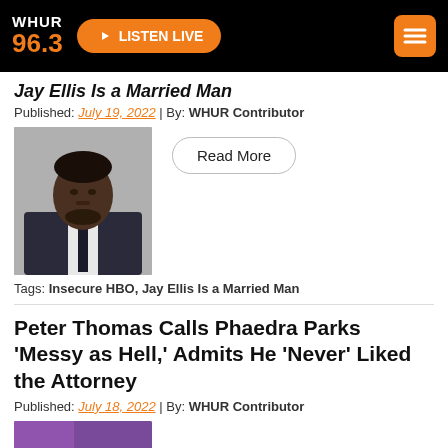WHUR 96.3 | LISTEN LIVE
Jay Ellis Is a Married Man
Published: July 19, 2022 | By: WHUR Contributor
[Figure (photo): Portrait photo of Jay Ellis in a suit and tie]
Read More
Tags: Insecure HBO, Jay Ellis Is a Married Man
Peter Thomas Calls Phaedra Parks ‘Messy as Hell,’ Admits He ‘Never’ Liked the Attorney
Published: July 18, 2022 | By: WHUR Contributor
[Figure (photo): Partial image visible at bottom of page]